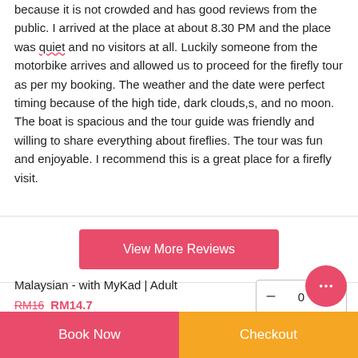because it is not crowded and has good reviews from the public. I arrived at the place at about 8.30 PM and the place was quiet and no visitors at all. Luckily someone from the motorbike arrives and allowed us to proceed for the firefly tour as per my booking. The weather and the date were perfect timing because of the high tide, dark clouds,s, and no moon. The boat is spacious and the tour guide was friendly and willing to share everything about fireflies. The tour was fun and enjoyable. I recommend this is a great place for a firefly visit.
View More Reviews
Malaysian - with MyKad | Adult
RM16 RM14.7
Book Now
Checkout